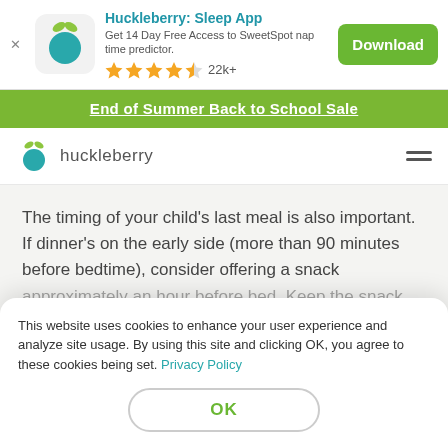[Figure (screenshot): App store banner for Huckleberry: Sleep App with icon, description, star rating, and Download button]
End of Summer Back to School Sale
[Figure (logo): Huckleberry logo with teal berry and green leaves, nav menu]
The timing of your child’s last meal is also important. If dinner’s on the early side (more than 90 minutes before bedtime), consider offering a snack approximately an hour before bed. Keep the snack
This website uses cookies to enhance your user experience and analyze site usage. By using this site and clicking OK, you agree to these cookies being set. Privacy Policy
OK